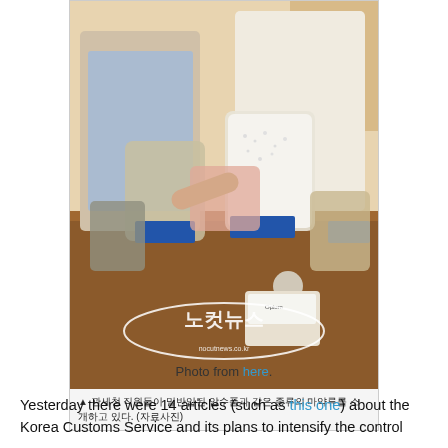[Figure (photo): Two Korean customs officials in a conference room holding up clear plastic bags containing white crystalline substances (likely drugs/narcotics). Several labeled blue-tagged bags of various substances are displayed on the table in front of them. A watermark reads '노컷뉴스 noCutnews.co.kr'. A Korean caption below reads: ▲ 관세청 직원들이 밀반입된 압수품과 같은 종류의 마약류를 소개하고 있다. (자료사진)]
Photo from here.
Yesterday there were 14 articles (such as this one) about the Korea Customs Service and its plans to intensify the control